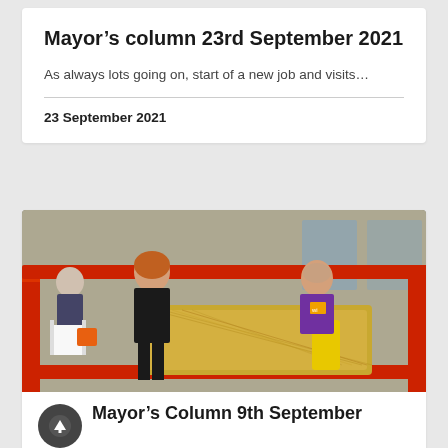Mayor’s column 23rd September 2021
As always lots going on, start of a new job and visits…
23 September 2021
[Figure (photo): Outdoor event scene: two women near a red barrier with hay bales. One woman in black clothing bends forward, another in a purple t-shirt sits near yellow cylinder inside red barrier. Stone building in background.]
Mayor’s Column 9th September
What a great week to write my first column with lots going…